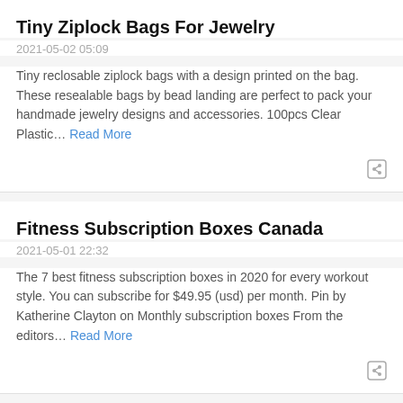Tiny Ziplock Bags For Jewelry
2021-05-02 05:09
Tiny reclosable ziplock bags with a design printed on the bag. These resealable bags by bead landing are perfect to pack your handmade jewelry designs and accessories. 100pcs Clear Plastic… Read More
Fitness Subscription Boxes Canada
2021-05-01 22:32
The 7 best fitness subscription boxes in 2020 for every workout style. You can subscribe for $49.95 (usd) per month. Pin by Katherine Clayton on Monthly subscription boxes From the editors… Read More
App Appvalley Vip Spotify
2021-05-01 14:21
Click the app that installed on your homescreen. Among those millions